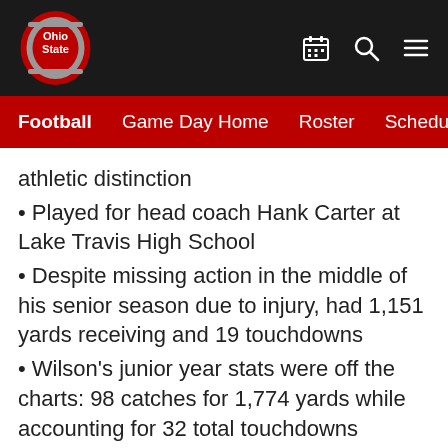Ohio State Football — Game Day Home | Roster | Schedule
athletic distinction
Played for head coach Hank Carter at Lake Travis High School
Despite missing action in the middle of his senior season due to injury, had 1,151 yards receiving and 19 touchdowns
Wilson's junior year stats were off the charts: 98 catches for 1,774 yards while accounting for 32 total touchdowns
His career numbers included 204 receptions for 3,359 yards and 55 total touchdowns
selected as the 2017-18 Central Texas High School Athlete of the Year by The State...